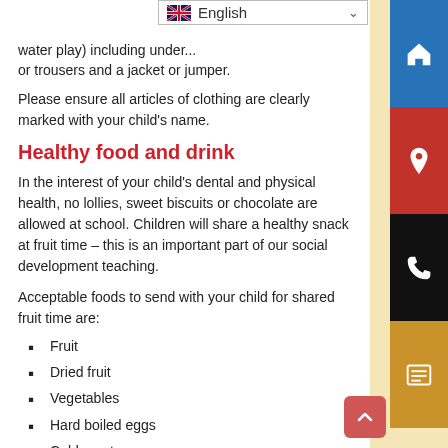water play) including under... or trousers and a jacket or jumper.
Please ensure all articles of clothing are clearly marked with your child's name.
Healthy food and drink
In the interest of your child's dental and physical health, no lollies, sweet biscuits or chocolate are allowed at school. Children will share a healthy snack at fruit time – this is an important part of our social development teaching.
Acceptable foods to send with your child for shared fruit time are:
Fruit
Dried fruit
Vegetables
Hard boiled eggs
Cold meats
Cheese,
Savory biscuits